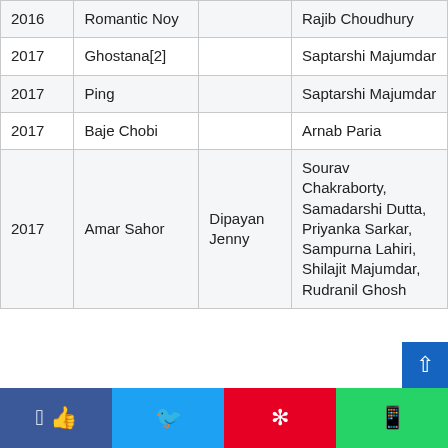| Year | Title | Role | Director |
| --- | --- | --- | --- |
| 2016 | Romantic Noy |  | Rajib Choudhury |
| 2017 | Ghostana[2] |  | Saptarshi Majumdar |
| 2017 | Ping |  | Saptarshi Majumdar |
| 2017 | Baje Chobi |  | Arnab Paria |
| 2017 | Amar Sahor | Dipayan Jenny | Sourav Chakraborty, Samadarshi Dutta, Priyanka Sarkar, Sampurna Lahiri, Shilajit Majumdar, Rudranil Ghosh |
Facebook | Twitter | Pinterest | WhatsApp